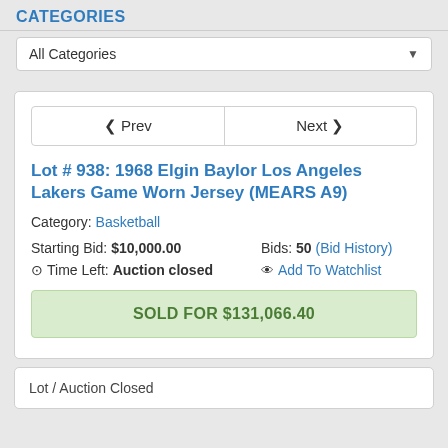CATEGORIES
All Categories
Lot # 938: 1968 Elgin Baylor Los Angeles Lakers Game Worn Jersey (MEARS A9)
Category: Basketball
Starting Bid: $10,000.00   Bids: 50 (Bid History)
Time Left: Auction closed   Add To Watchlist
SOLD FOR $131,066.40
Lot / Auction Closed